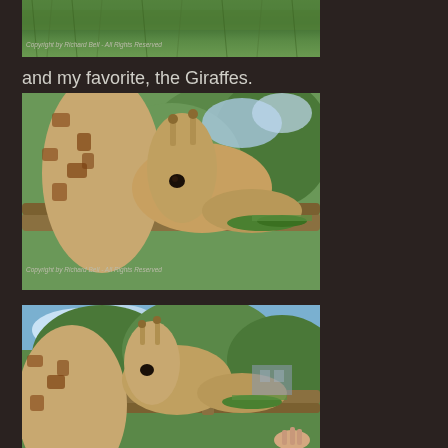[Figure (photo): Top portion of a photo showing green grass/foliage with a copyright watermark]
Copyright by Richard Bell - All Rights Reserved
and my favorite, the Giraffes.
[Figure (photo): Close-up photo of a giraffe's head over a wooden fence railing, eating greenery, with trees in background]
Copyright by Richard Bell - All Rights Reserved
[Figure (photo): Photo of a giraffe's head and neck over a wooden fence, being hand-fed, with trees and sky in background]